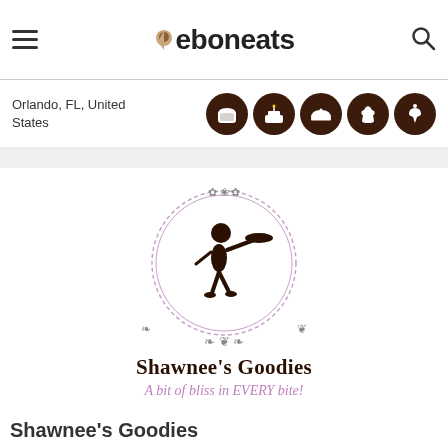[Figure (logo): eboneats website header with hamburger menu, eboneats logo with pin icon, and search icon]
Orlando, FL, United States
[Figure (illustration): Five dark brown circular food category icons: toast/bread, birthday cake, cloche/dome, cupcake, ice cream sundae]
[Figure (logo): Shawnee's Goodies logo: circular ornamental border with decorative scrollwork, brown illustrated figure carrying a serving tray, text 'Shawnee's Goodies' and tagline 'A bit of bliss in EVERY bite!']
Shawnee's Goodies
A bit of bliss in EVERY bite!
Shawnee's Goodies